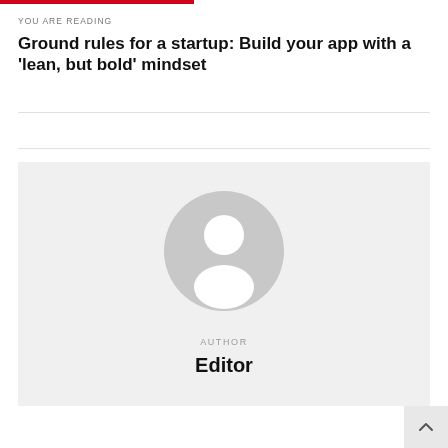YOU ARE READING
Ground rules for a startup: Build your app with a 'lean, but bold' mindset
[Figure (illustration): Default author avatar placeholder: a grey circle with a white silhouette of a person (head and shoulders)]
AUTHOR
Editor